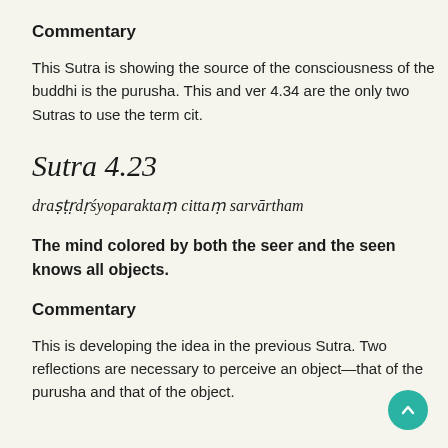Commentary
This Sutra is showing the source of the consciousness of the buddhi is the purusha. This and ver 4.34 are the only two Sutras to use the term cit.
Sutra 4.23
draṣṭṛdṛśyoparaktaṃ cittaṃ sarvārtham
The mind colored by both the seer and the seen knows all objects.
Commentary
This is developing the idea in the previous Sutra. Two reflections are necessary to perceive an object—that of the purusha and that of the object.